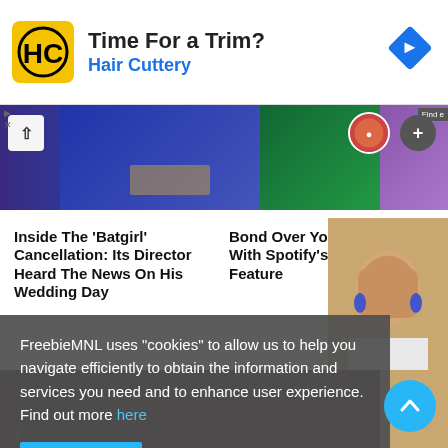[Figure (screenshot): Hair Cuttery advertisement banner with logo, 'Time For a Trim?' headline, 'Hair Cuttery' subtext in blue, and navigation diamond icon]
[Figure (photo): Colorful image strip showing fashion/event photos with up arrow button, avatar circle, and plus button]
Inside The ‘Batgirl’ Cancellation: Its Director Heard The News On His Wedding Day
Bond Over Your Fave Songs With Spotify’s New Blend Feature
FreebieMNL uses “cookies” to allow us to help you navigate efficiently to obtain the information and services you need and to enhance user experience. Find out more here
[Figure (photo): Woman with brown hair wearing white blazer and blue earrings]